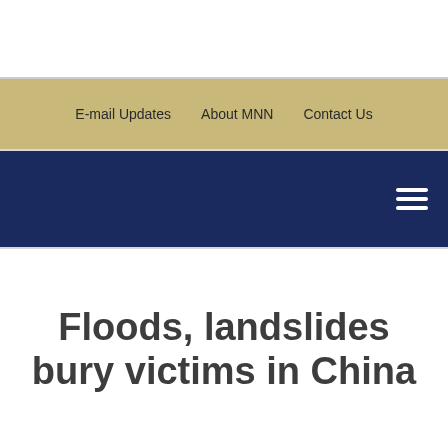E-mail Updates | About MNN | Contact Us
Floods, landslides bury victims in China